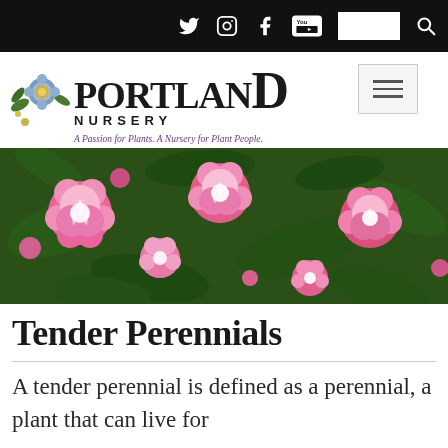Social media icons: Twitter, Instagram, Facebook, YouTube. Search box.
[Figure (logo): Portland Nursery logo with floral illustration. Text: PORTLAND NURSERY. Tagline: A Passion for Plants. A Nursery for Plant People.]
[Figure (photo): Close-up photo of pink and white double-flowered impatiens or camellia blooms with dark green leaves.]
Tender Perennials
A tender perennial is defined as a perennial, a plant that can live for